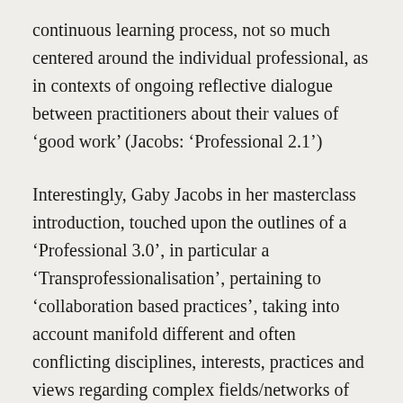continuous learning process, not so much centered around the individual professional, as in contexts of ongoing reflective dialogue between practitioners about their values of 'good work' (Jacobs: 'Professional 2.1')
Interestingly, Gaby Jacobs in her masterclass introduction, touched upon the outlines of a 'Professional 3.0', in particular a 'Transprofessionalisation', pertaining to 'collaboration based practices', taking into account manifold different and often conflicting disciplines, interests, practices and views regarding complex fields/networks of related problems. Still on Kunneman's trail, some interesting recent studies are